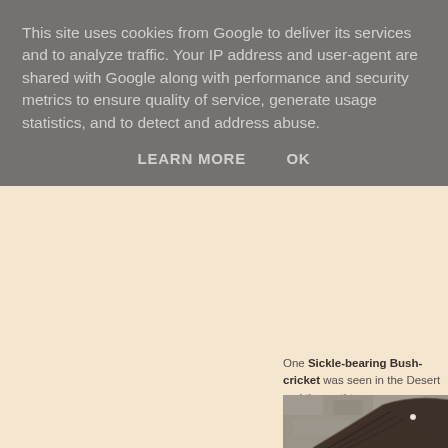This site uses cookies from Google to deliver its services and to analyze traffic. Your IP address and user-agent are shared with Google along with performance and security metrics to ensure quality of service, generate usage statistics, and to detect and address abuse.
LEARN MORE   OK
One Sickle-bearing Bush-cricket was seen in the Desert and the mothtrap pr
[Figure (photo): Close-up photograph of a moth or insect wing resting on a textured stone surface, showing dark brown wing with striped pattern and a small white spot]